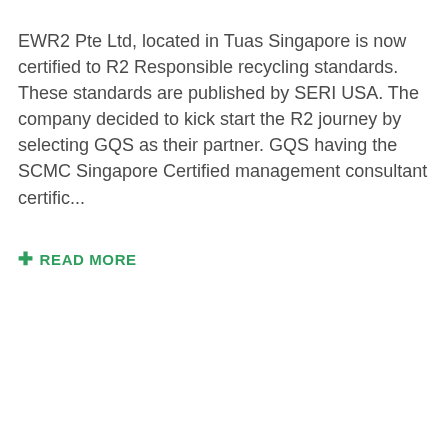EWR2 Pte Ltd, located in Tuas Singapore is now certified to R2 Responsible recycling standards. These standards are published by SERI USA. The company decided to kick start the R2 journey by selecting GQS as their partner. GQS having the SCMC Singapore Certified management consultant certific...
+ READ MORE
[Figure (photo): Certificate of Certification from Orion Registrar, Inc. ('Thorough and Fair Auditing') for Xushen Enterprise Pte Ltd, referencing the Responsible Recycling System and The Sustainable Electronics Reuse & Recycling (R2) Standard v3. Partially obscured by a live chat overlay bubble saying 'We're Online! How may I help you today?' and a blue chat button.]